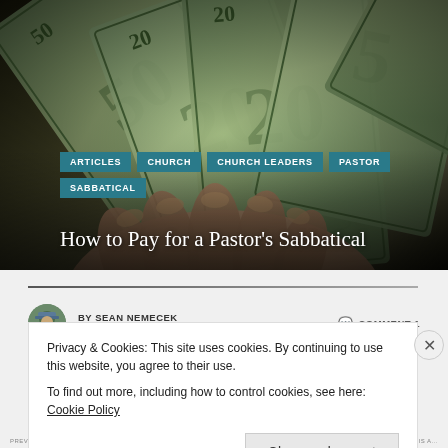[Figure (photo): Hero image of a hand fanning out US dollar bills (20s and 50s), dark background, with category tags and article title overlaid]
ARTICLES
CHURCH
CHURCH LEADERS
PASTOR
SABBATICAL
How to Pay for a Pastor's Sabbatical
BY SEAN NEMECEK   COMMENT 1
FEBRUARY 11, 2019
Privacy & Cookies: This site uses cookies. By continuing to use this website, you agree to their use.
To find out more, including how to control cookies, see here: Cookie Policy
Close and accept